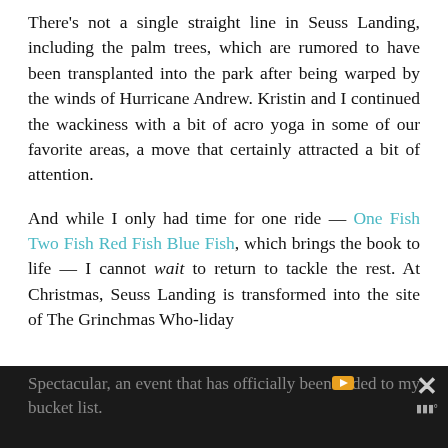There's not a single straight line in Seuss Landing, including the palm trees, which are rumored to have been transplanted into the park after being warped by the winds of Hurricane Andrew. Kristin and I continued the wackiness with a bit of acro yoga in some of our favorite areas, a move that certainly attracted a bit of attention.
And while I only had time for one ride — One Fish Two Fish Red Fish Blue Fish, which brings the book to life — I cannot wait to return to tackle the rest. At Christmas, Seuss Landing is transformed into the site of The Grinchmas Who-liday Spectacular, an event that has officially been added to my bucket list.